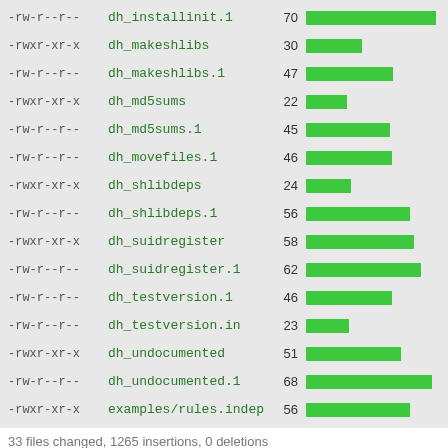[Figure (bar-chart): File listing with line counts]
33 files changed, 1265 insertions, 0 deletions
diff --git a/.foo b/.foo
new file mode 100644
index 0000000..e69de29
--- /dev/null
+++ b/.foo
diff --git a/BUGS b/BUGS
new file mode 100644
index 0000000..3a33f32